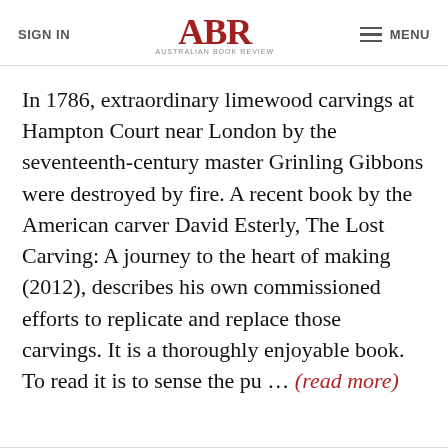SIGN IN | ABR AUSTRALIAN BOOK REVIEW | MENU
In 1786, extraordinary limewood carvings at Hampton Court near London by the seventeenth-century master Grinling Gibbons were destroyed by fire. A recent book by the American carver David Esterly, The Lost Carving: A journey to the heart of making (2012), describes his own commissioned efforts to replicate and replace those carvings. It is a thoroughly enjoyable book. To read it is to sense the pu … (read more)